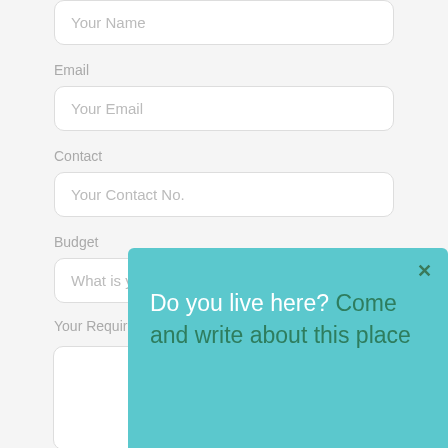[Figure (screenshot): Web form input field with placeholder 'Your Name', partially visible at top of page]
Email
[Figure (screenshot): Web form input field with placeholder 'Your Email']
Contact
[Figure (screenshot): Web form input field with placeholder 'Your Contact No.']
Budget
[Figure (screenshot): Web form input field with placeholder 'What is your budget?']
Your Requirements
[Figure (screenshot): Web form textarea for requirements, partially visible]
[Figure (infographic): Teal popup overlay with close button (x) and text: 'Do you live here? Come and write about this place']